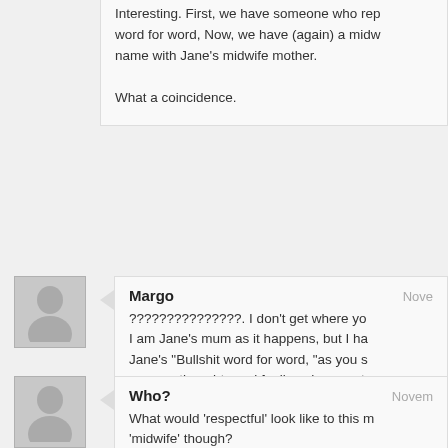Interesting. First, we have someone who rep... word for word, Now, we have (again) a mid... name with Jane's midwife mother.

What a coincidence.
Margo
???????????????. I don't get where yo... I am Jane's mum as it happens, but I ha... Jane's “Bullshit word for word, “as you s... my own thoughts and feelings here, not... whatsoever. It is mean sarcastic comme... that I find very challenging, as I really th... place of sharing opinions and respectful... case, apparently not? Why the personal...
Who?
What would 'respectful' look like to this m... 'midwife' though?